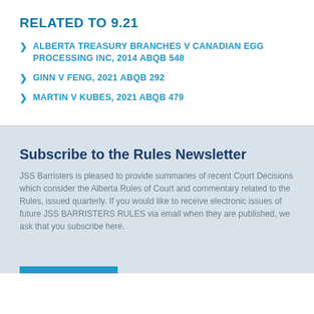RELATED TO 9.21
ALBERTA TREASURY BRANCHES V CANADIAN EGG PROCESSING INC, 2014 ABQB 548
GINN V FENG, 2021 ABQB 292
MARTIN V KUBES, 2021 ABQB 479
Subscribe to the Rules Newsletter
JSS Barristers is pleased to provide summaries of recent Court Decisions which consider the Alberta Rules of Court and commentary related to the Rules, issued quarterly. If you would like to receive electronic issues of future JSS BARRISTERS RULES via email when they are published, we ask that you subscribe here.